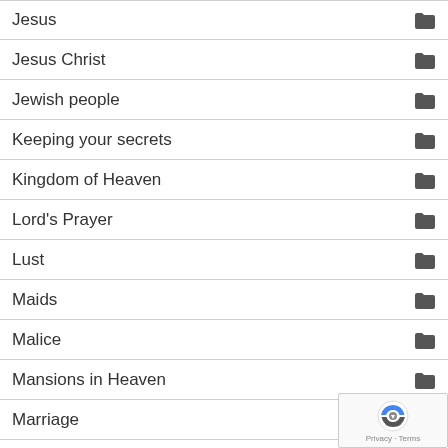Jesus
Jesus Christ
Jewish people
Keeping your secrets
Kingdom of Heaven
Lord's Prayer
Lust
Maids
Malice
Mansions in Heaven
Marriage
Marriage Supper of the Lamb